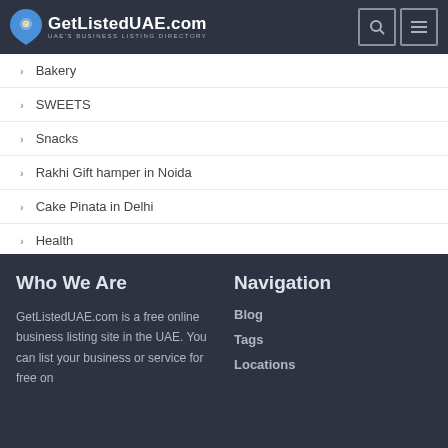GetListedUAE.com — UAE's BUSINESS LISTING DIRECTORY
Bakery
SWEETS
Snacks
Rakhi Gift hamper in Noida
Cake Pinata in Delhi
Health
Who We Are
GetListedUAE.com is a free online business listing site in the UAE. You can list your business or service for free on
Navigation
Blog
Tags
Locations